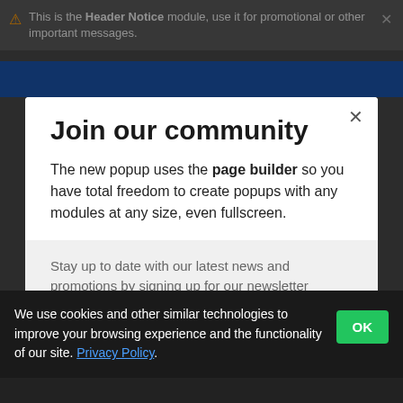This is the Header Notice module, use it for promotional or other important messages.
Join our community
The new popup uses the page builder so you have total freedom to create popups with any modules at any size, even fullscreen.
Stay up to date with our latest news and promotions by signing up for our newsletter
We use cookies and other similar technologies to improve your browsing experience and the functionality of our site. Privacy Policy.